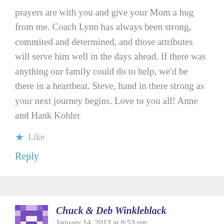prayers are with you and give your Mom a hug from me. Coach Lynn has always been strong, commited and determined, and those attributes will serve him well in the days ahead. If there was anything our family could do to help, we'd be there in a heartbeat. Steve, hand in there strong as your next journey begins. Love to you all! Anne and Hank Kohler
Like
Reply
Chuck & Deb Winkleblack  January 14, 2013 at 8:53 pm
Erica, praying for Steve and all your family at this time. Give your mom